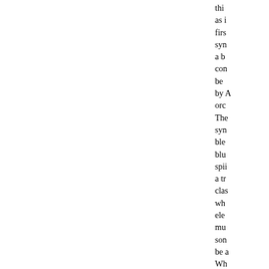as i firs syn a b con be by A orc The syn ble blu spi a tr clas wh ele mu son be Wh Ge oth hav jaz res